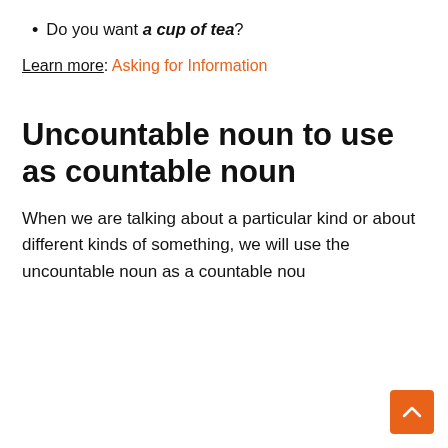Do you want a cup of tea?
Learn more: Asking for Information
Uncountable noun to use as countable noun
When we are talking about a particular kind or about different kinds of something, we will use the uncountable noun as a countable nou…